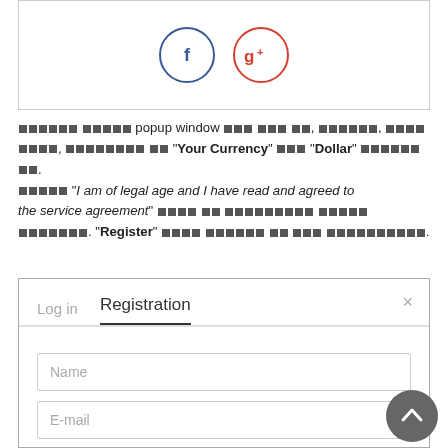[Figure (screenshot): Social login icons: Facebook (f) circle in blue and Google+ (g+) circle in red, inside a bordered box]
ශිෂ්‍ය ශිෂ්‍ය popup window ශිෂ්‍ය ශිෂ්‍ය ශිෂ්‍ය, ශිෂ්‍ය ශිෂ්‍ය, ශිෂ්‍ය ශිෂ්‍ය, ශිෂ්‍ය ශිෂ්‍ය ශිෂ්‍ය "Your Currency" ශිෂ්‍ය "Dollar" ශිෂ්‍ය. ශිෂ්‍ය "I am of legal age and I have read and agreed to the service agreement" ශිෂ්‍ය ශිෂ්‍ය ශිෂ්‍ය ශිෂ්‍ය ශිෂ්‍ය ශිෂ්‍ය. "Register" ශිෂ්‍ය ශිෂ්‍ය ශිෂ්‍ය ශිෂ්‍ය ශිෂ්‍ය.
[Figure (screenshot): Registration modal window with Log in and Registration tabs, Name input, E-mail input, and phone number row with Sri Lanka flag]